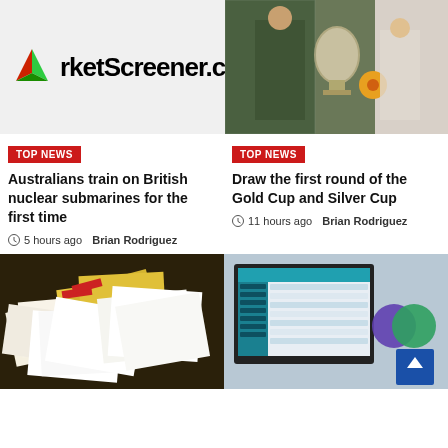[Figure (logo): MarketScreener logo with green/red arrow icon and text 'rketScreener.c']
[Figure (photo): Sports players holding a trophy with orange flowers]
TOP NEWS
Australians train on British nuclear submarines for the first time
5 hours ago  Brian Rodriguez
TOP NEWS
Draw the first round of the Gold Cup and Silver Cup
11 hours ago  Brian Rodriguez
[Figure (photo): Stacks of paper documents with yellow and red envelopes]
[Figure (screenshot): Software dashboard on laptop screen with teal/blue interface and shopping bag icon]